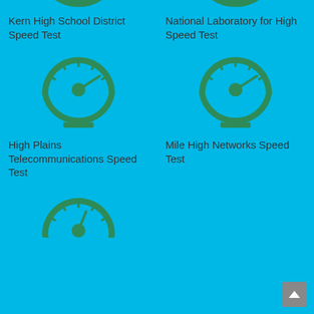[Figure (illustration): Partial speedometer icon (green) at top, cropped]
[Figure (illustration): Partial speedometer icon (green) at top, cropped]
Kern High School District Speed Test
National Laboratory for High Speed Test
[Figure (illustration): Green speedometer icon]
[Figure (illustration): Green speedometer icon]
High Plains Telecommunications Speed Test
Mile High Networks Speed Test
[Figure (illustration): Green speedometer icon (partial, bottom of page)]